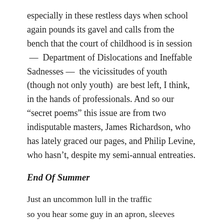especially in these restless days when school again pounds its gavel and calls from the bench that the court of childhood is in session — Department of Dislocations and Ineffable Sadnesses — the vicissitudes of youth (though not only youth) are best left, I think, in the hands of professionals. And so our “secret poems” this issue are from two indisputable masters, James Richardson, who has lately graced our pages, and Philip Levine, who hasn’t, despite my semi-annual entreaties.
End Of Summer
Just an uncommon lull in the traffic
so you hear some guy in an apron, sleeves rolled up,
with his brusque sweep brusque sweep of the sidewalk,
and the slap shut of a too thin rental van,
and I told him no a gust has snatched from a conversation